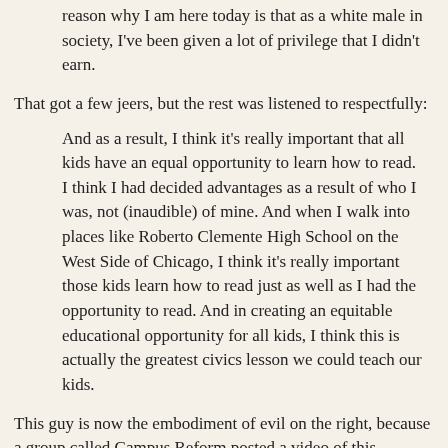reason why I am here today is that as a white male in society, I've been given a lot of privilege that I didn't earn.
That got a few jeers, but the rest was listened to respectfully:
And as a result, I think it's really important that all kids have an equal opportunity to learn how to read. I think I had decided advantages as a result of who I was, not (inaudible) of mine. And when I walk into places like Roberto Clemente High School on the West Side of Chicago, I think it's really important those kids learn how to read just as well as I had the opportunity to read. And in creating an equitable educational opportunity for all kids, I think this is actually the greatest civics lesson we could teach our kids.
This guy is now the embodiment of evil on the right, because a group called Campus Reform posted a video of this statement under the title "VIDEO: Teacher Says He Helped Write Common Core to End White Privilege."